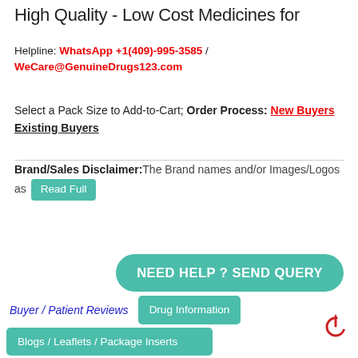High Quality - Low Cost Medicines for
Helpline: WhatsApp +1(409)-995-3585 / WeCare@GenuineDrugs123.com
Select a Pack Size to Add-to-Cart; Order Process: New Buyers Existing Buyers
Brand/Sales Disclaimer: The Brand names and/or Images/Logos as [Read Full]
[Figure (other): NEED HELP ? SEND QUERY button (teal rounded rectangle)]
Buyer / Patient Reviews | Drug Information | Blogs / Leaflets / Package Inserts | Drug Video & Specifications | Other Drugs
[Figure (other): Power/back-to-top icon (red circle with arrow)]